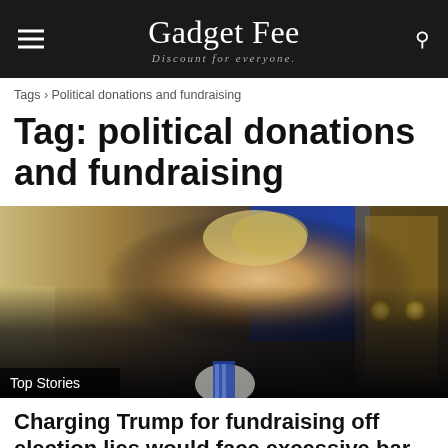Gadget Fee — Discount for everyone.
Tags › Political donations and fundraising
Tag: political donations and fundraising
[Figure (photo): Photo of Donald Trump seated, wearing a dark suit and blue striped tie, looking to the side, with a blue flag and golden door visible in the background. A caption overlay reads 'Top Stories'.]
Charging Trump for fundraising off election lies would face excessive bar, specialists